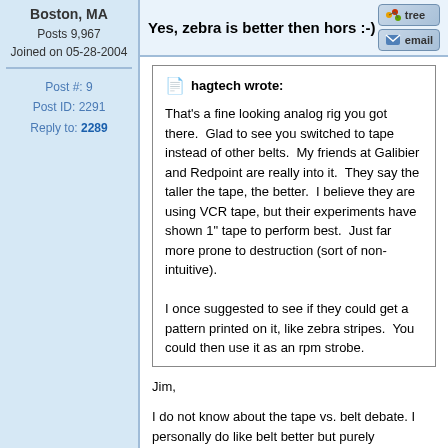Boston, MA
Posts 9,967
Joined on 05-28-2004
Post #: 9
Post ID: 2291
Reply to: 2289
Yes, zebra is better then hors :-)
hagtech wrote:
That's a fine looking analog rig you got there.  Glad to see you switched to tape instead of other belts.  My friends at Galibier and Redpoint are really into it.  They say the taller the tape, the better.  I believe they are using VCR tape, but their experiments have shown 1" tape to perform best.  Just far more prone to destruction (sort of non-intuitive).

I once suggested to see if they could get a pattern printed on it, like zebra stripes.  You could then use it as an rpm strobe.
Jim,

I do not know about the tape vs. belt debate. I personally do like belt better but purely intellectually, as I was not able to see any difference in sound or stability between tape and belt (in context of 38"). With both: tape and belt the stability of the spinning is way beyond what might be critically measurable.

What I do not like about tape that it “sings”. When I have a long run of tape and if I put my ear I the muddle